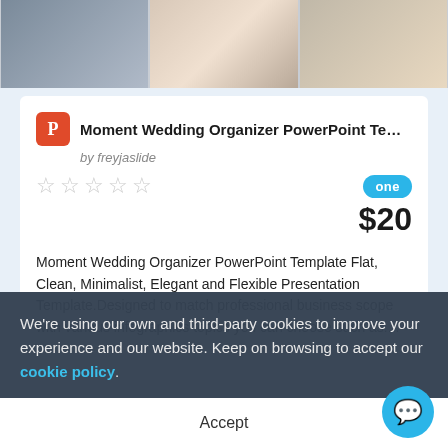[Figure (screenshot): Top banner with three thumbnail images of the wedding organizer PowerPoint template]
Moment Wedding Organizer PowerPoint Templ...
by freyjaslide
★★★★★ (empty stars rating) | one badge | $20
Moment Wedding Organizer PowerPoint Template Flat, Clean, Minimalist, Elegant and Flexible Presentation Template.Designed to match professional business scope with various infographics topics you can choose such as....
We're using our own and third-party cookies to improve your experience and our website. Keep on browsing to accept our cookie policy.
Accept